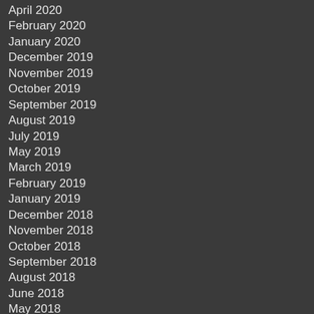April 2020
February 2020
January 2020
December 2019
November 2019
October 2019
September 2019
August 2019
July 2019
May 2019
March 2019
February 2019
January 2019
December 2018
November 2018
October 2018
September 2018
August 2018
June 2018
May 2018
March 2018